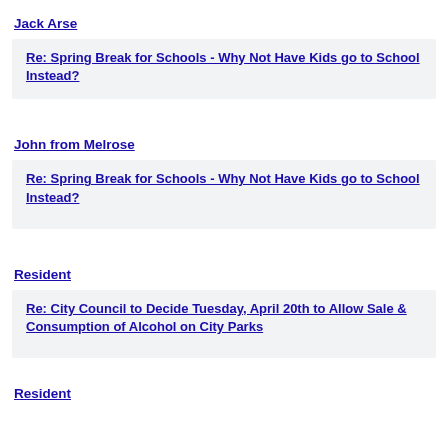Jack Arse
Re: Spring Break for Schools - Why Not Have Kids go to School Instead?
John from Melrose
Re: Spring Break for Schools - Why Not Have Kids go to School Instead?
Resident
Re: City Council to Decide Tuesday, April 20th to Allow Sale & Consumption of Alcohol on City Parks
Resident